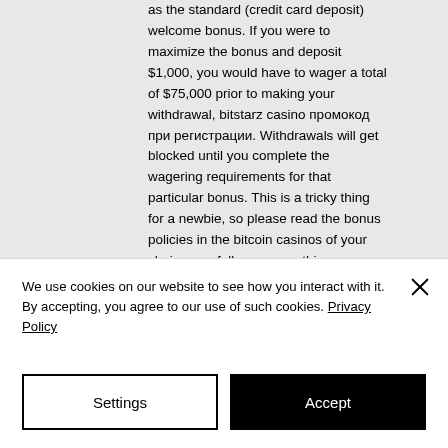as the standard (credit card deposit) welcome bonus. If you were to maximize the bonus and deposit $1,000, you would have to wager a total of $75,000 prior to making your withdrawal, bitstarz casino промокод при регистрации. Withdrawals will get blocked until you complete the wagering requirements for that particular bonus. This is a tricky thing for a newbie, so please read the bonus policies in the bitcoin casinos of your choice carefully, as some things indicated in there may be surprising for you, bitstarz casino отзывы игроков. Chests, prizes, and games are waiting for you, only at Rocketpot. Do not forget to check out our
We use cookies on our website to see how you interact with it. By accepting, you agree to our use of such cookies. Privacy Policy
Settings
Accept